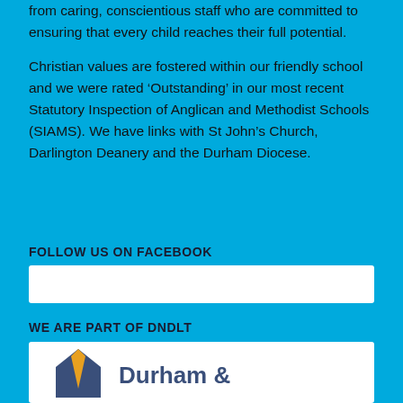from caring, conscientious staff who are committed to ensuring that every child reaches their full potential.
Christian values are fostered within our friendly school and we were rated ‘Outstanding’ in our most recent Statutory Inspection of Anglican and Methodist Schools (SIAMS). We have links with St John’s Church, Darlington Deanery and the Durham Diocese.
FOLLOW US ON FACEBOOK
[Figure (other): White rectangle placeholder for Facebook embed/link widget]
WE ARE PART OF DNDLT
[Figure (logo): Durham & logo — geometric house/arrow shape in dark blue and gold/yellow with 'Durham &' text in dark blue]